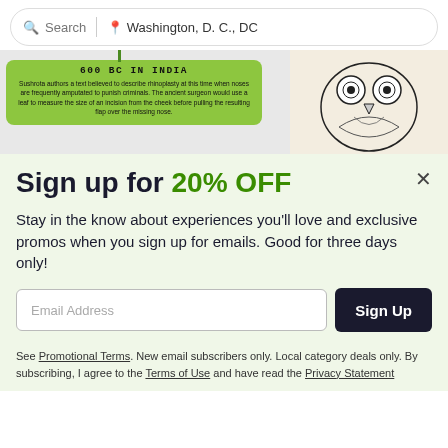Search | Washington, D. C., DC
[Figure (infographic): Green card with title '600 BC IN INDIA' describing Sushrota authoring a text on rhinoplasty, alongside an owl illustration on a cream background]
Sign up for 20% OFF
Stay in the know about experiences you'll love and exclusive promos when you sign up for emails. Good for three days only!
Email Address | Sign Up
See Promotional Terms. New email subscribers only. Local category deals only. By subscribing, I agree to the Terms of Use and have read the Privacy Statement